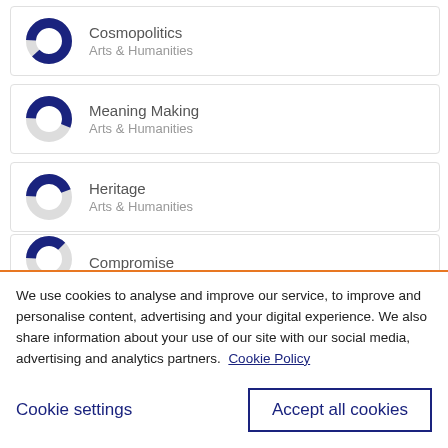[Figure (donut-chart): Donut chart mostly filled dark navy, small grey arc]
Cosmopolitics
Arts & Humanities
[Figure (donut-chart): Donut chart about half filled dark navy, half grey]
Meaning Making
Arts & Humanities
[Figure (donut-chart): Donut chart about 40% filled dark navy, rest grey]
Heritage
Arts & Humanities
[Figure (donut-chart): Donut chart partially filled dark navy]
Compromise
We use cookies to analyse and improve our service, to improve and personalise content, advertising and your digital experience. We also share information about your use of our site with our social media, advertising and analytics partners.  Cookie Policy
Cookie settings
Accept all cookies